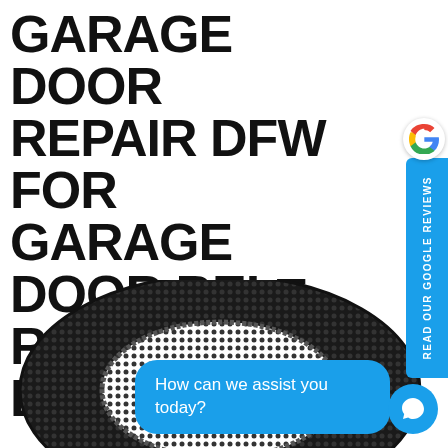GARAGE DOOR REPAIR DFW FOR GARAGE DOOR BELT REPAIR IN BEDFORD?
[Figure (photo): A coiled black rubber toothed timing belt (garage door belt) resting on a white background, with metal bolts visible at the bottom left]
How can we assist you today?